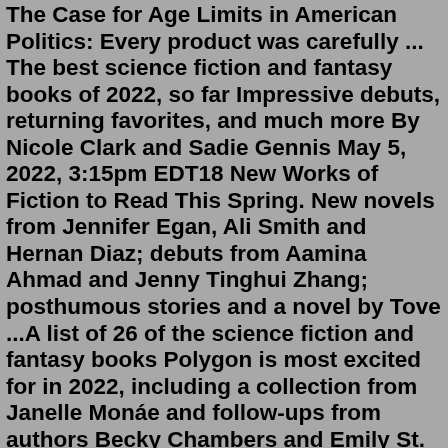The Case for Age Limits in American Politics: Every product was carefully ... The best science fiction and fantasy books of 2022, so far Impressive debuts, returning favorites, and much more By Nicole Clark and Sadie Gennis May 5, 2022, 3:15pm EDT18 New Works of Fiction to Read This Spring. New novels from Jennifer Egan, Ali Smith and Hernan Diaz; debuts from Aamina Ahmad and Jenny Tinghui Zhang; posthumous stories and a novel by Tove ...A list of 26 of the science fiction and fantasy books Polygon is most excited for in 2022, including a collection from Janelle Monáe and follow-ups from authors Becky Chambers and Emily St. John ...Best New Fiction: Summer, 2022 By Walden Pond Books Our pick of the best of the season's most anticipated and critically acclaimed new fiction (published June 21, 2022 through September 19, 2022) - so far. . . Check back often for newly listed titles.A collection of articles about Fiction from The New Yorker, including news, in-depth reporting, commentary, and analysis. Newsletter. Get the best ... August 22, 2022 IssueNew